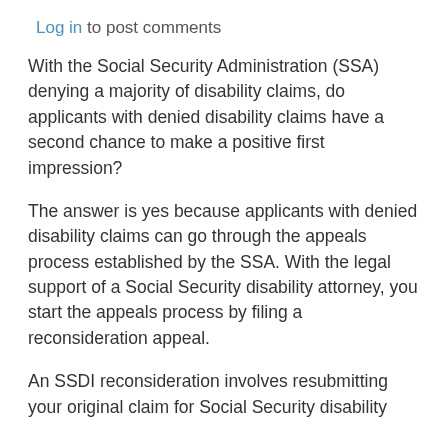Log in to post comments
With the Social Security Administration (SSA) denying a majority of disability claims, do applicants with denied disability claims have a second chance to make a positive first impression?
The answer is yes because applicants with denied disability claims can go through the appeals process established by the SSA. With the legal support of a Social Security disability attorney, you start the appeals process by filing a reconsideration appeal.
An SSDI reconsideration involves resubmitting your original claim for Social Security disability